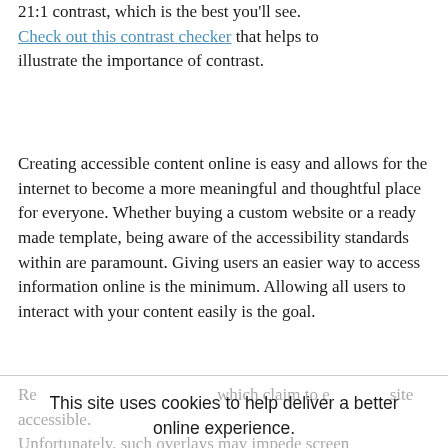21:1 contrast, which is the best you'll see. Check out this contrast checker that helps to illustrate the importance of contrast.
Creating accessible content online is easy and allows for the internet to become a more meaningful and thoughtful place for everyone. Whether buying a custom website or a ready made template, being aware of the accessibility standards within are paramount. Giving users an easier way to access information online is the minimum. Allowing all users to interact with your content easily is the goal.
This site uses cookies to help deliver a better online experience.
Re... which claim to e... site accessible. Unfortunately, such overlays may impede screen readers and make ... ore hostile to ...